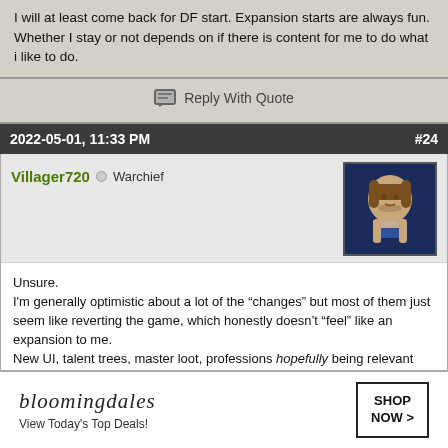I will at least come back for DF start. Expansion starts are always fun. Whether I stay or not depends on if there is content for me to do what i like to do.
Reply With Quote
2022-05-01, 11:33 PM    #24
Villager720  Warchief
Unsure.
I'm generally optimistic about a lot of the “changes” but most of them just seem like reverting the game, which honestly doesn’t “feel” like an expansion to me.
New UI, talent trees, master loot, professions hopefully being relevant again are all mediocre “box features” for hype. Hell, most of them feel like things that should have been happening for years now.
I suppose I wanted something new and exciting to hype up the expansion, but the new race/class is beyond the derp-pale for me to consider …which leaves me with just dragon riding and 4 new zones.
I dunno. I guess I just was hoping for something more, vague as that is.
[Figure (other): Advertisement banner for Bloomingdale's: 'View Today's Top Deals! SHOP NOW >']